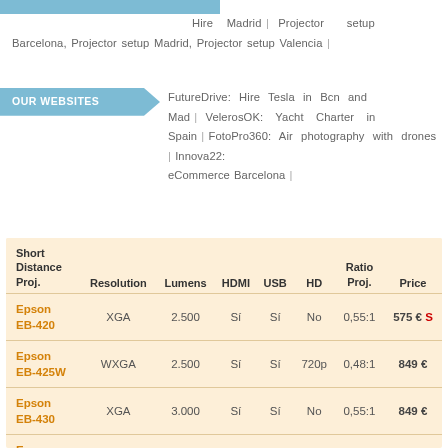Hire Madrid | Projector setup Barcelona, Projector setup Madrid, Projector setup Valencia |
OUR WEBSITES  FutureDrive: Hire Tesla in Bcn and Mad | VelerosOK: Yacht Charter in Spain | FotoPro360: Air photography with drones | Innova22: eCommerce Barcelona |
| Short Distance Proj. | Resolution | Lumens | HDMI | USB | HD | Ratio Proj. | Price |
| --- | --- | --- | --- | --- | --- | --- | --- |
| Epson EB-420 | XGA | 2.500 | Sí | Sí | No | 0,55:1 | 575 € S |
| Epson EB-425W | WXGA | 2.500 | Sí | Sí | 720p | 0,48:1 | 849 € |
| Epson EB-430 | XGA | 3.000 | Sí | Sí | No | 0,55:1 | 849 € |
| Epson EB-435W | WXGA | 3.000 | Sí | Sí | 720p | 0,48:1 | 975 € |